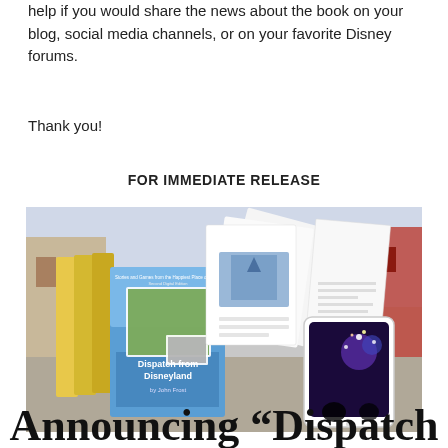help if you would share the news about the book on your blog, social media channels, or on your favorite Disney forums.
Thank you!
FOR IMMEDIATE RELEASE
[Figure (photo): Book cover and digital edition images for 'Dispatch from Disneyland by John Frost', showing physical book copies fanned out, interior pages, and a tablet with fireworks image, set against a Disneyland Main Street backdrop.]
Announcing “Dispatch